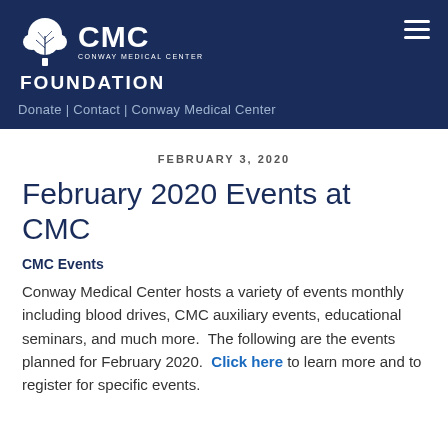[Figure (logo): CMC Conway Medical Center Foundation logo with tree icon, white text on dark navy background, hamburger menu icon top right]
Donate | Contact | Conway Medical Center
FEBRUARY 3, 2020
February 2020 Events at CMC
CMC Events
Conway Medical Center hosts a variety of events monthly including blood drives, CMC auxiliary events, educational seminars, and much more.  The following are the events planned for February 2020.  Click here to learn more and to register for specific events.